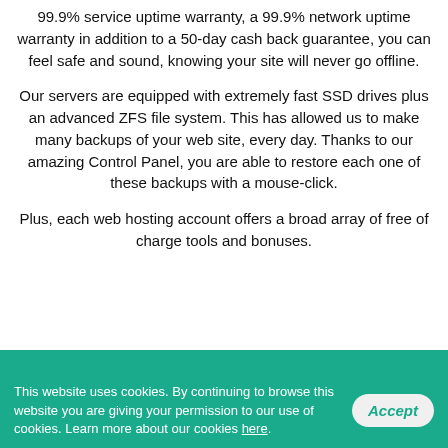99.9% service uptime warranty, a 99.9% network uptime warranty in addition to a 50-day cash back guarantee, you can feel safe and sound, knowing your site will never go offline.
Our servers are equipped with extremely fast SSD drives plus an advanced ZFS file system. This has allowed us to make many backups of your web site, every day. Thanks to our amazing Control Panel, you are able to restore each one of these backups with a mouse-click.
Plus, each web hosting account offers a broad array of free of charge tools and bonuses.
[Figure (screenshot): Live Chat Offline bubble widget and chat avatar button on teal background]
This website uses cookies. By continuing to browse this website you are giving your permission to our use of cookies. Learn more about our cookies here.